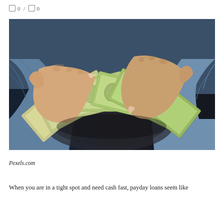0 / 0
[Figure (photo): Hands holding and fanning out multiple US $100 dollar bills, person wearing jeans seated on dark surface]
Pexels.com
When you are in a tight spot and need cash fast, payday loans seem like